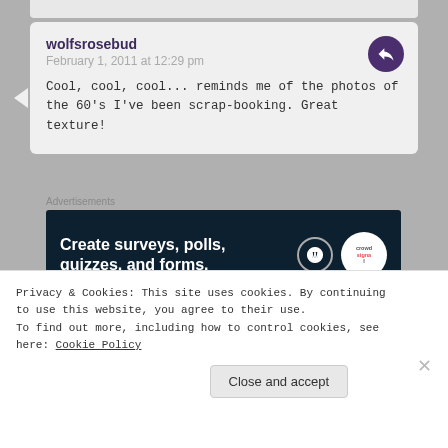wolfsrosebud
February 1, 2011 at 12:29 pm
Cool, cool, cool... reminds me of the photos of the 60's I've been scrap-booking. Great texture!
Advertisements
[Figure (other): Advertisement banner: Create surveys, polls, quizzes, and forms. WordPress and CrowdSignal logos on dark background.]
jonuy
Privacy & Cookies: This site uses cookies. By continuing to use this website, you agree to their use.
To find out more, including how to control cookies, see here: Cookie Policy
Close and accept